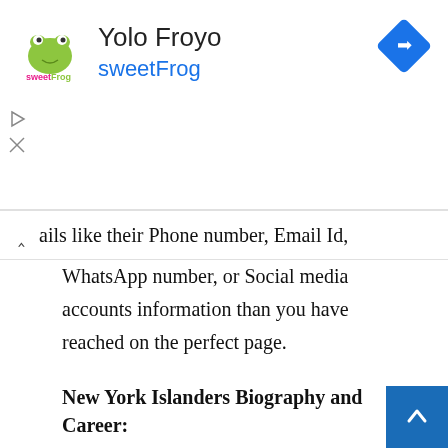[Figure (logo): sweetFrog advertisement banner with logo, title 'Yolo Froyo', subtitle 'sweetFrog', and a blue diamond navigation arrow icon on the right]
ails like their Phone number, Email Id, WhatsApp number, or Social media accounts information than you have reached on the perfect page.
New York Islanders Biography and Career:
In the National Hockey League, the New York Islanders are an American professional ice hockey club headquartered in Brooklyn, New York, that competes in the Eastern Conference (NHL). During the 1980–83 season, the Islanders won four Stanley Cups.